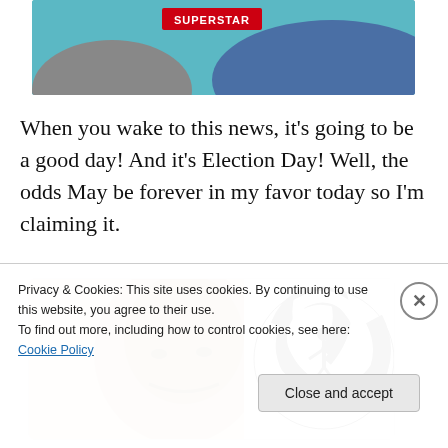[Figure (photo): Top partial image showing a 'SUPERSTAR' red badge/label and partial figures in background with teal/blue tones]
When you wake to this news, it's going to be a good day! And it's Election Day! Well, the odds May be forever in my favor today so I'm claiming it.
[Figure (photo): Composite image showing a smiling Black man's face on the left and a James Bond spiral gun barrel logo in black and white on the right]
Privacy & Cookies: This site uses cookies. By continuing to use this website, you agree to their use.
To find out more, including how to control cookies, see here: Cookie Policy
Close and accept